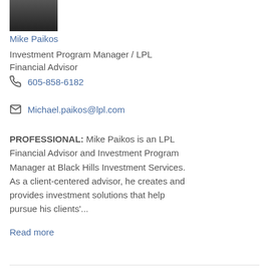[Figure (photo): Headshot photo of Mike Paikos in a dark suit]
Mike Paikos
Investment Program Manager / LPL Financial Advisor
605-858-6182
Michael.paikos@lpl.com
PROFESSIONAL: Mike Paikos is an LPL Financial Advisor and Investment Program Manager at Black Hills Investment Services. As a client-centered advisor, he creates and provides investment solutions that help pursue his clients'...
Read more